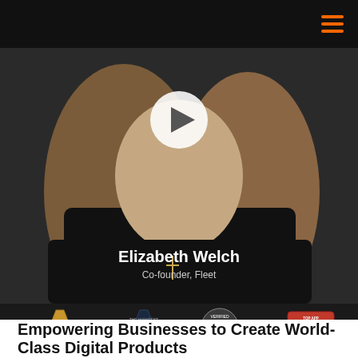[Figure (screenshot): Navigation header bar with hamburger menu icon (three orange horizontal lines) on black background]
[Figure (photo): Video thumbnail of Elizabeth Welch, Co-founder of Fleet, wearing a black top with a cross necklace, with a large white play button overlay. Text overlay shows name and title.]
[Figure (infographic): Row of four award badges: two Clutch badges (hexagon shapes, gold and dark), one circular badge with stars, and one red AppFutura Top App Development Company badge]
Empowering Businesses to Create World-Class Digital Products